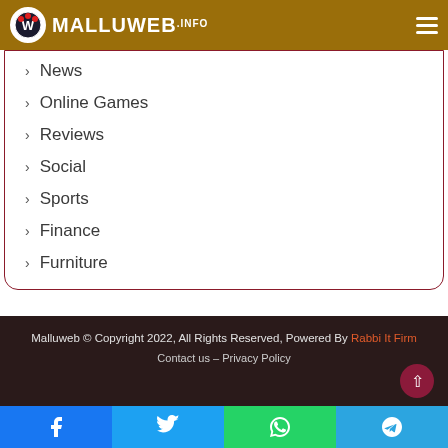MALLUWEB.INFO
News
Online Games
Reviews
Social
Sports
Finance
Furniture
Malluweb © Copyright 2022, All Rights Reserved, Powered By Rabbi It Firm
Contact us – Privacy Policy